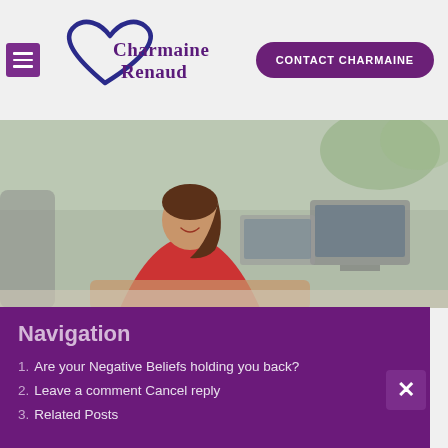[Figure (logo): Charmaine Renaud logo with heart outline in navy/purple, cursive text 'Charmaine Renaud'. Hamburger menu icon on left.]
CONTACT CHARMAINE
[Figure (photo): Woman in red top seated at a desk with laptops in background, smiling, blurred office setting.]
Navigation
Are your Negative Beliefs holding you back?
Leave a comment Cancel reply
Related Posts